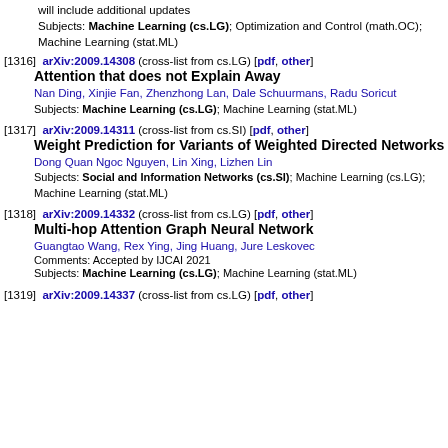will include additional updates
Subjects: Machine Learning (cs.LG); Optimization and Control (math.OC); Machine Learning (stat.ML)
[1316] arXiv:2009.14308 (cross-list from cs.LG) [pdf, other]
Attention that does not Explain Away
Nan Ding, Xinjie Fan, Zhenzhong Lan, Dale Schuurmans, Radu Soricut
Subjects: Machine Learning (cs.LG); Machine Learning (stat.ML)
[1317] arXiv:2009.14311 (cross-list from cs.SI) [pdf, other]
Weight Prediction for Variants of Weighted Directed Networks
Dong Quan Ngoc Nguyen, Lin Xing, Lizhen Lin
Subjects: Social and Information Networks (cs.SI); Machine Learning (cs.LG); Machine Learning (stat.ML)
[1318] arXiv:2009.14332 (cross-list from cs.LG) [pdf, other]
Multi-hop Attention Graph Neural Network
Guangtao Wang, Rex Ying, Jing Huang, Jure Leskovec
Comments: Accepted by IJCAI 2021
Subjects: Machine Learning (cs.LG); Machine Learning (stat.ML)
[1319] arXiv:2009.14337 (cross-list from cs.LG) [pdf, other]